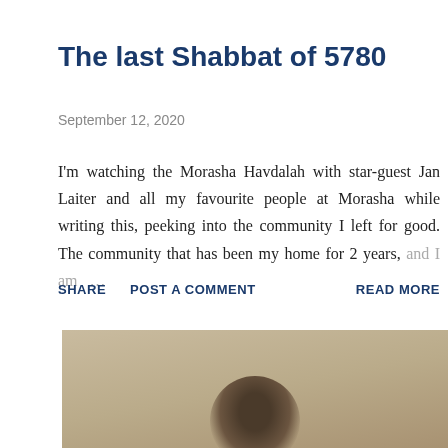The last Shabbat of 5780
September 12, 2020
I'm watching the Morasha Havdalah with star-guest Jan Laiter and all my favourite people at Morasha while writing this, peeking into the community I left for good. The community that has been my home for 2 years, and I am …
SHARE   POST A COMMENT   READ MORE
[Figure (photo): Partial photograph of a person, beige/tan background, lower portion visible]